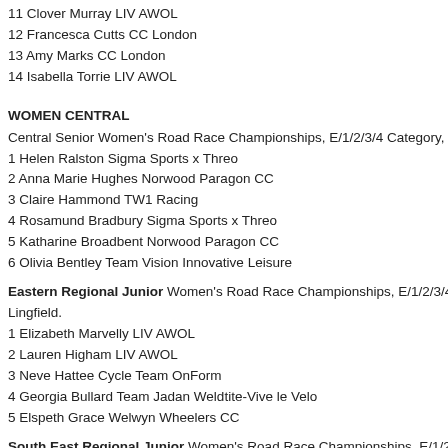11 Clover Murray LIV AWOL
12 Francesca Cutts CC London
13 Amy Marks CC London
14 Isabella Torrie LIV AWOL
WOMEN CENTRAL
Central Senior Women's Road Race Championships, E/1/2/3/4 Category, 70km, 19...
1 Helen Ralston Sigma Sports x Threo
2 Anna Marie Hughes Norwood Paragon CC
3 Claire Hammond TW1 Racing
4 Rosamund Bradbury Sigma Sports x Threo
5 Katharine Broadbent Norwood Paragon CC
6 Olivia Bentley Team Vision Innovative Leisure
Eastern Regional Junior Women's Road Race Championships, E/1/2/3/4 Category, Lingfield.
1 Elizabeth Marvelly LIV AWOL
2 Lauren Higham LIV AWOL
3 Neve Hattee Cycle Team OnForm
4 Georgia Bullard Team Jadan Weldtite-Vive le Velo
5 Elspeth Grace Welwyn Wheelers CC
South East Regional Junior Women's Road Race Championships, E/1/2/3/4 Cate... Lingfield.
1 Hannah Graveney LIV AWOL
2 Megan Panton Project 51